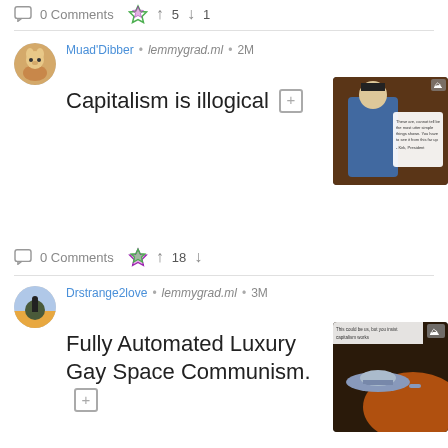0 Comments  ↑ 5  ↓ 1
Muad'Dibber • lemmygrad.ml • 2M
Capitalism is illogical
[Figure (photo): Thumbnail of Spock from Star Trek with a quote overlay]
0 Comments  ↑ 18  ↓
Drstrange2love • lemmygrad.ml • 3M
Fully Automated Luxury Gay Space Communism.
[Figure (photo): Thumbnail of Star Trek spaceship with text 'This could be us, but you insist capitalism works']
0 Comments  ↑ 19  ↓ 1